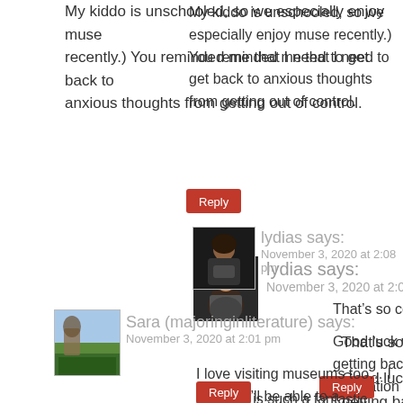My kiddo is unschooled, so we especially enjoy muse recently.) You reminded me that I need to get back to anxious thoughts from getting out of control.
Reply
lydias says:
November 3, 2020 at 2:08 pm
That’s so cool!
Good luck with getting back into meditation
Reply
Sara (majoringinliterature) says:
November 3, 2020 at 2:01 pm
I love visiting museums too… I hope we’ll be able to a
Dancing is such a fantastic hobby, it’s one of those th you enjoy it if you do decide to take it up again after
Reply